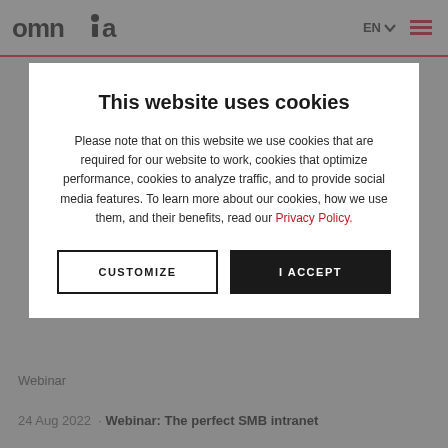omnia | EN | menu
This website uses cookies
Please note that on this website we use cookies that are required for our website to work, cookies that optimize performance, cookies to analyze traffic, and to provide social media features. To learn more about our cookies, how we use them, and their benefits, read our Privacy Policy.
CUSTOMIZE | I ACCEPT
Webinar
24 Aug 2022 · Webinar: The perfect SMB intranet